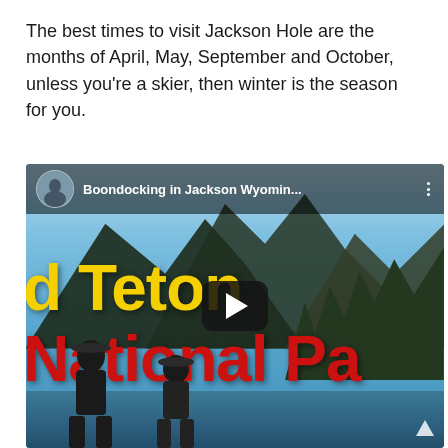The best times to visit Jackson Hole are the months of April, May, September and October, unless you're a skier, then winter is the season for you.
[Figure (screenshot): YouTube video thumbnail embed showing 'Boondocking in Jackson Wyomin...' with large yellow text 'd Teton' and red text 'National Pa' overlaid on a scenic mountain lake photo with Grand Teton National Park. Two people visible in the foreground viewing the lake. A play button overlay is shown in the center.]